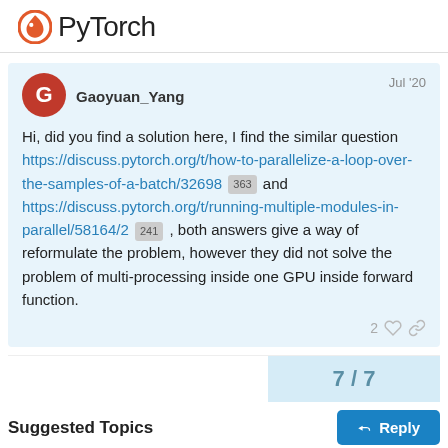[Figure (logo): PyTorch logo with orange flame icon and PyTorch text]
Gaoyuan_Yang
Jul '20
Hi, did you find a solution here, I find the similar question https://discuss.pytorch.org/t/how-to-parallelize-a-loop-over-the-samples-of-a-batch/32698 363 and https://discuss.pytorch.org/t/running-multiple-modules-in-parallel/58164/2 241 , both answers give a way of reformulate the problem, however they did not solve the problem of multi-processing inside one GPU inside forward function.
2
7 / 7
Suggested Topics
Reply